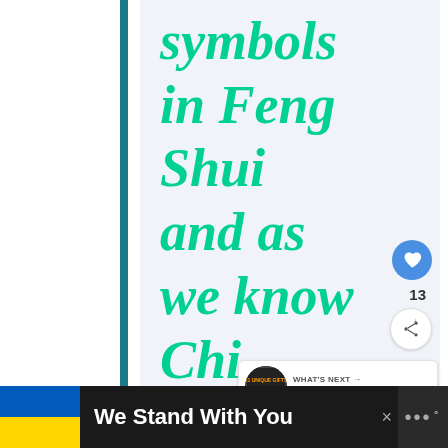symbols in Feng Shui and as we know Chi (vital
[Figure (screenshot): Like button with heart icon (blue circle) and count of 13, plus share button below]
[Figure (screenshot): WHAT'S NEXT panel showing thumbnail and text '21 Unique Feng Shui G...']
We Stand With You